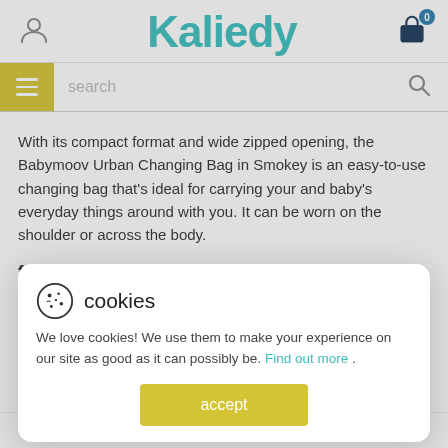Kaliedy
With its compact format and wide zipped opening, the Babymoov Urban Changing Bag in Smokey is an easy-to-use changing bag that's ideal for carrying your and baby's everyday things around with you. It can be worn on the shoulder or across the body.
features and benefits
cookies — We love cookies! We use them to make your experience on our site as good as it can possibly be. Find out more . accept
Can be carried over the shoulder or across the body